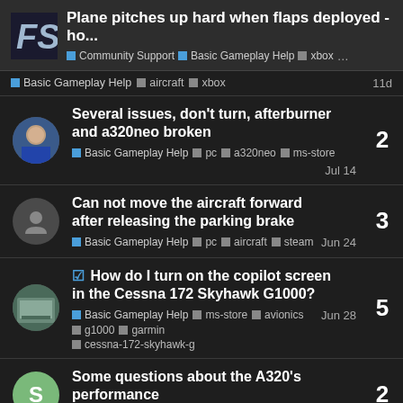Plane pitches up hard when flaps deployed - ho... | Community Support | Basic Gameplay Help | xbox ...
Basic Gameplay Help · aircraft · xbox — 11d
Several issues, don't turn, afterburner and a320neo broken — Basic Gameplay Help · pc · a320neo · ms-store — Jul 14 — 2 replies
Can not move the aircraft forward after releasing the parking brake — Basic Gameplay Help · pc · aircraft · steam — Jun 24 — 3 replies
How do I turn on the copilot screen in the Cessna 172 Skyhawk G1000? — Basic Gameplay Help · ms-store · avionics · g1000 · garmin · cessna-172-skyhawk-g — Jun 28 — 5 replies
Some questions about the A320's performance — Basic Gameplay Help · xbox — 2 replies